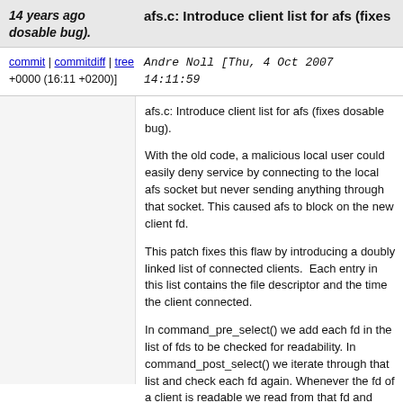14 years ago dosable bug). afs.c: Introduce client list for afs (fixes
commit | commitdiff | tree Andre Noll [Thu, 4 Oct 2007 14:11:59 +0000 (16:11 +0200)]
afs.c: Introduce client list for afs (fixes dosable bug).
With the old code, a malicious local user could easily deny service by connecting to the local afs socket but never sending anything through that socket. This caused afs to block on the accept call for the new client fd.
This patch fixes this flaw by introducing a doubly linked list of connected clients. Each entry in this list contains the file descriptor and the time the client connected.
In command_pre_select() we add each fd in the list to the set of fds to be checked for readability. In command_post_select() we iterate through that list and check each fd again. Whenever the fd of a client is readable we read from that fd and execute the command if the client sent the valid magic cookie.
However, if the fd is not ready, we close the connection if AFS_CLIENT_TIMEOUT seconds (default: 3) have elapsed since the client connected. This hopefully avoids another possible DoS: A malicious user could try to flood us with connections until the number of open fds is reached.